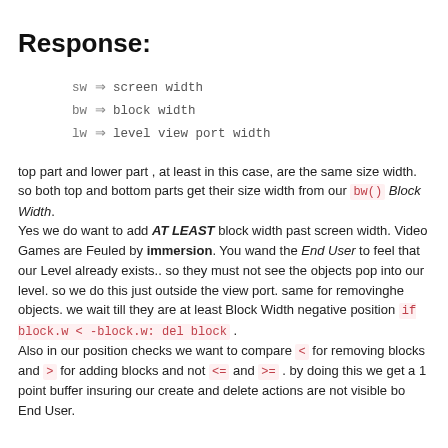Response:
sw ⇒ screen width
bw ⇒ block width
lw ⇒ level view port width
top part and lower part , at least in this case, are the same size width. so both top and bottom parts get their size width from our bw() Block Width.
Yes we do want to add AT LEAST block width past screen width. Video Games are Feuled by immersion. You wand the End User to feel that our Level already exists.. so they must not see the objects pop into our level. so we do this just outside the view port. same for removinghe objects. we wait till they are at least Block Width negative position if block.w < -block.w: del block .
Also in our position checks we want to compare < for removing blocks and > for adding blocks and not <= and >= . by doing this we get a 1 point buffer insuring our create and delete actions are not visible bo End User.